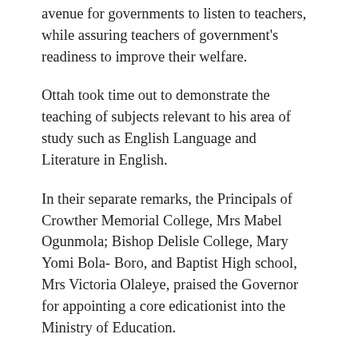avenue for governments to listen to teachers, while assuring teachers of government's readiness to improve their welfare.
Ottah took time out to demonstrate the teaching of subjects relevant to his area of study such as English Language and Literature in English.
In their separate remarks, the Principals of Crowther Memorial College, Mrs Mabel Ogunmola; Bishop Delisle College, Mary Yomi Bola- Boro, and Baptist High school, Mrs Victoria Olaleye, praised the Governor for appointing a core edicationist into the Ministry of Education.
They also commended the special adviser for marking the Teacher's Day in an innovative way, while pledging their continued support for government.
Some of the students who spoke on the visit and teaching by the SA, expressed joy for the privilege to meet him in person, having heard his voice on radio during the lockdown radio teaching programme in the state.